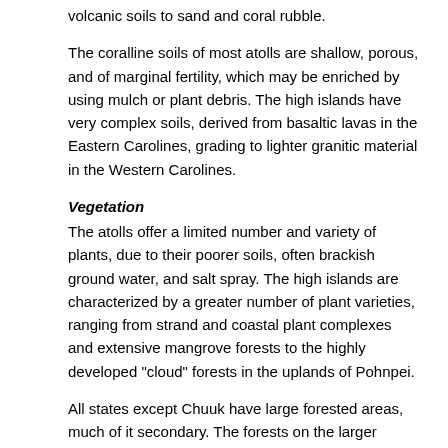volcanic soils to sand and coral rubble.
The coralline soils of most atolls are shallow, porous, and of marginal fertility, which may be enriched by using mulch or plant debris. The high islands have very complex soils, derived from basaltic lavas in the Eastern Carolines, grading to lighter granitic material in the Western Carolines.
Vegetation
The atolls offer a limited number and variety of plants, due to their poorer soils, often brackish ground water, and salt spray. The high islands are characterized by a greater number of plant varieties, ranging from strand and coastal plant complexes and extensive mangrove forests to the highly developed "cloud" forests in the uplands of Pohnpei.
All states except Chuuk have large forested areas, much of it secondary. The forests on the larger islands protect watersheds and prevent erosion. Mangrove areas filter run-off sediment and serve as nurseries for many marine species.
Currently, there is limited use of timber, with only one small